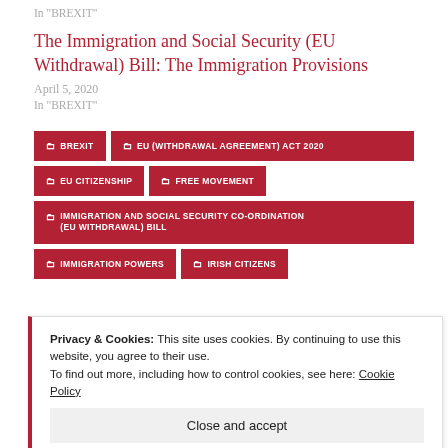In "BREXIT"
The Immigration and Social Security (EU Withdrawal) Bill: The Immigration Provisions
April 5, 2020
In "BREXIT"
BREXIT
EU (WITHDRAWAL AGREEMENT) ACT 2020
EU CITIZENSHIP
FREE MOVEMENT
IMMIGRATION AND SOCIAL SECURITY CO-ORDINATION (EU WITHDRAWAL) BILL
IMMIGRATION POWERS
IRISH CITIZENS
Privacy & Cookies: This site uses cookies. By continuing to use this website, you agree to their use. To find out more, including how to control cookies, see here: Cookie Policy
Close and accept
Previous   Next